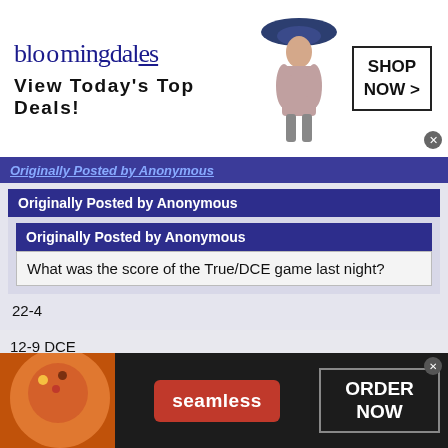[Figure (screenshot): Bloomingdale's advertisement banner: logo text 'bloomingdales', tagline 'View Today's Top Deals!', image of woman in hat, 'SHOP NOW >' button]
Originally Posted by Anonymous
Originally Posted by Anonymous
Originally Posted by Anonymous
What was the score of the True/DCE game last night?
22-4
12-9 DCE
The official HOCO website has True winning 12-9.
[Figure (screenshot): Seamless food delivery advertisement: pizza image on left, red 'seamless' button in center, 'ORDER NOW' button on right, dark background]